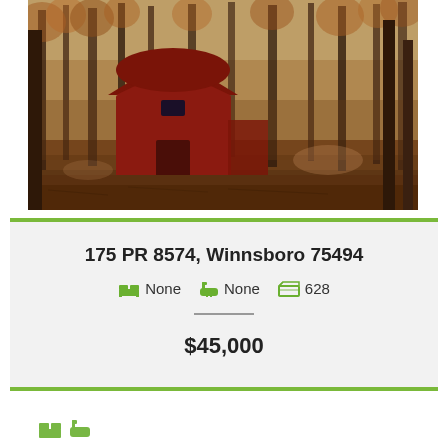[Figure (photo): Outdoor photo of a red barn-style building with a gambrel roof surrounded by tall pine trees on a dirt/leaf-covered ground in autumn.]
175 PR 8574, Winnsboro 75494
None  None  628
$45,000